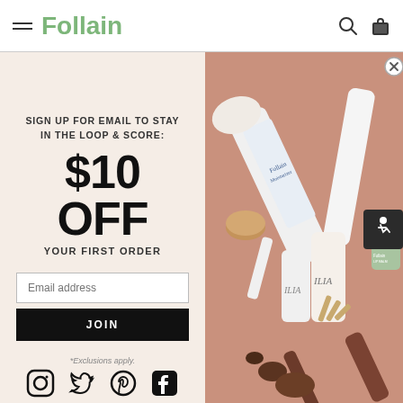Follain
SIGN UP FOR EMAIL TO STAY IN THE LOOP & SCORE:
$10 OFF
YOUR FIRST ORDER
Email address
JOIN
*Exclusions apply.
[Figure (photo): Flatlay of beauty and skincare products including Follain Moisturizer, ILIA products, lip balm, mascara, and foundation on a pink-beige background]
[Figure (logo): Social media icons: Instagram, Twitter, Pinterest, Facebook]